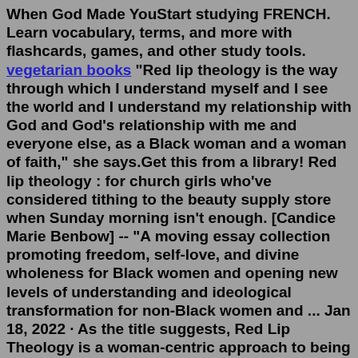When God Made YouStart studying FRENCH. Learn vocabulary, terms, and more with flashcards, games, and other study tools. vegetarian books "Red lip theology is the way through which I understand myself and I see the world and I understand my relationship with God and God's relationship with me and everyone else, as a Black woman and a woman of faith," she says.Get this from a library! Red lip theology : for church girls who've considered tithing to the beauty supply store when Sunday morning isn't enough. [Candice Marie Benbow] -- "A moving essay collection promoting freedom, self-love, and divine wholeness for Black women and opening new levels of understanding and ideological transformation for non-Black women and ... Jan 18, 2022 · As the title suggests, Red Lip Theology is a woman-centric approach to being “churched”—and an honest and deeply candid examination of how the dogma of the traditional Black Church does and doesn’t... Blurring the boundaries of righteous and irreverent, Red Lip